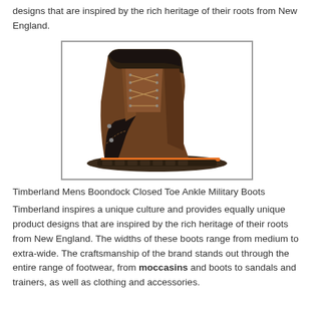designs that are inspired by the rich heritage of their roots from New England.
[Figure (photo): Timberland Mens Boondock Closed Toe Ankle Military Boot — brown leather work boot with black toe cap, orange accent on sole, and aggressive lug sole, displayed on white background with gray border.]
Timberland Mens Boondock Closed Toe Ankle Military Boots
Timberland inspires a unique culture and provides equally unique product designs that are inspired by the rich heritage of their roots from New England. The widths of these boots range from medium to extra-wide. The craftsmanship of the brand stands out through the entire range of footwear, from moccasins and boots to sandals and trainers, as well as clothing and accessories.